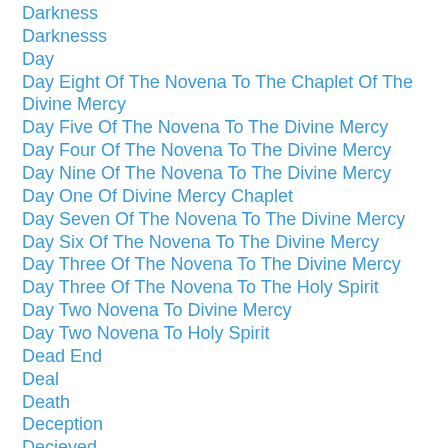Darkness
Darknesss
Day
Day Eight Of The Novena To The Chaplet Of The Divine Mercy
Day Five Of The Novena To The Divine Mercy
Day Four Of The Novena To The Divine Mercy
Day Nine Of The Novena To The Divine Mercy
Day One Of Divine Mercy Chaplet
Day Seven Of The Novena To The Divine Mercy
Day Six Of The Novena To The Divine Mercy
Day Three Of The Novena To The Divine Mercy
Day Three Of The Novena To The Holy Spirit
Day Two Novena To Divine Mercy
Day Two Novena To Holy Spirit
Dead End
Deal
Death
Deception
Decieved
Decision
Decree